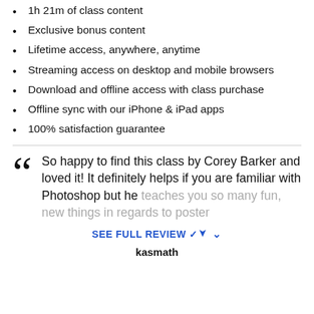8 video lessons in HD
1h 21m of class content
Exclusive bonus content
Lifetime access, anywhere, anytime
Streaming access on desktop and mobile browsers
Download and offline access with class purchase
Offline sync with our iPhone & iPad apps
100% satisfaction guarantee
So happy to find this class by Corey Barker and loved it! It definitely helps if you are familiar with Photoshop but he teaches you so many fun, new things in regards to poster
SEE FULL REVIEW
kasmath